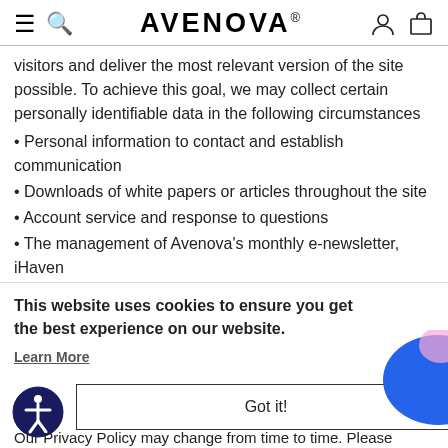AVENOVA®
visitors and deliver the most relevant version of the site possible. To achieve this goal, we may collect certain personally identifiable data in the following circumstances
• Personal information to contact and establish communication
• Downloads of white papers or articles throughout the site
• Account service and response to questions
• The management of Avenova's monthly e-newsletter, iHaven
This website uses cookies to ensure you get the best experience on our website.
Learn More
Got it!
Our Privacy Policy may change from time to time. Please